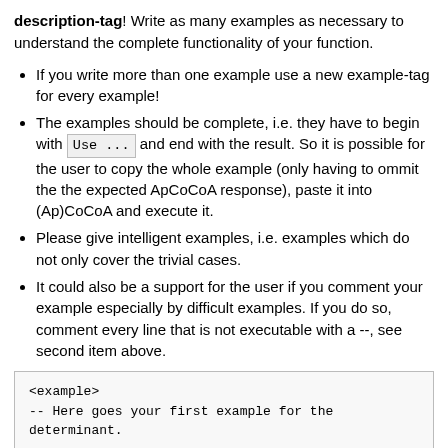description-tag! Write as many examples as necessary to understand the complete functionality of your function.
If you write more than one example use a new example-tag for every example!
The examples should be complete, i.e. they have to begin with Use ... and end with the result. So it is possible for the user to copy the whole example (only having to ommit the the expected ApCoCoA response), paste it into (Ap)CoCoA and execute it.
Please give intelligent examples, i.e. examples which do not only cover the trivial cases.
It could also be a support for the user if you comment your example especially by difficult examples. If you do so, comment every line that is not executable with a --, see second item above.
<example>
-- Here goes your first example for the
determinant.